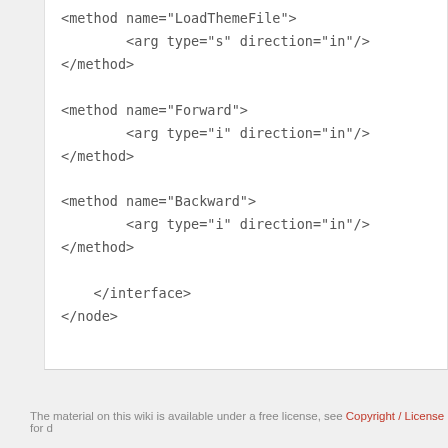<method name="LoadThemeFile">
    <arg type="s" direction="in"/>
</method>

<method name="Forward">
    <arg type="i" direction="in"/>
</method>

<method name="Backward">
    <arg type="i" direction="in"/>
</method>

</interface>
</node>
The material on this wiki is available under a free license, see Copyright / License for d...